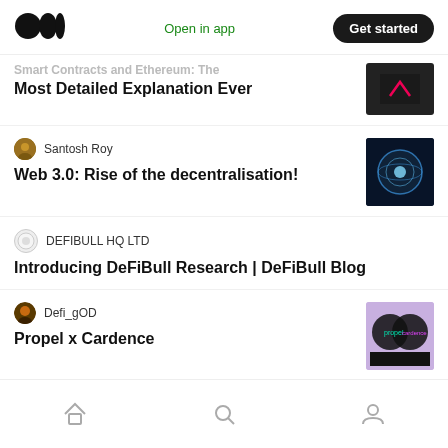Medium logo | Open in app | Get started
Most Detailed Explanation Ever
Santosh Roy
Web 3.0: Rise of the decentralisation!
DEFIBULL HQ LTD
Introducing DeFiBull Research | DeFiBull Blog
Defi_gOD
Propel x Cardence
Home | Search | Profile navigation